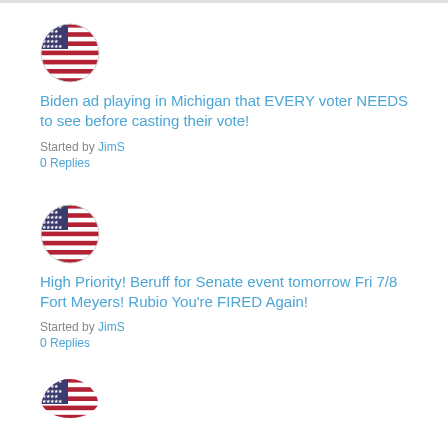[Figure (illustration): Circular avatar with US flag design, red white and blue stripes and stars]
Biden ad playing in Michigan that EVERY voter NEEDS to see before casting their vote!
Started by JimS
0 Replies
[Figure (illustration): Circular avatar with US flag design, red white and blue stripes and stars]
High Priority! Beruff for Senate event tomorrow Fri 7/8 Fort Meyers! Rubio You're FIRED Again!
Started by JimS
0 Replies
[Figure (illustration): Circular avatar with US flag design, red white and blue stripes and stars (partially visible)]